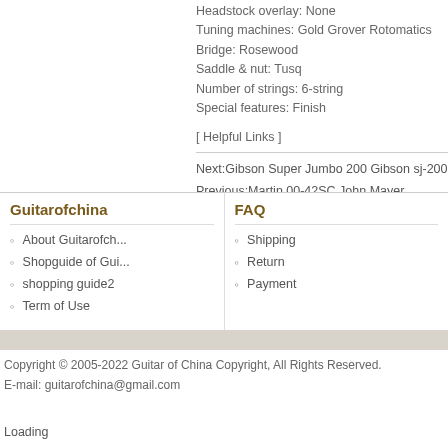Headstock overlay: None
Tuning machines: Gold Grover Rotomatics
Bridge: Rosewood
Saddle & nut: Tusq
Number of strings: 6-string
Special features: Finish
[ Helpful Links ]
Next:Gibson Super Jumbo 200 Gibson sj-200
Previous:Martin 00-42SC John Mayer
Guitarofchina
FAQ
About Guitarofch...
Shopguide of Gui...
shopping guide2
Term of Use
Shipping
Return
Payment
Copyright © 2005-2022 Guitar of China Copyright, All Rights Reserved.
E-mail: guitarofchina@gmail.com
Loading